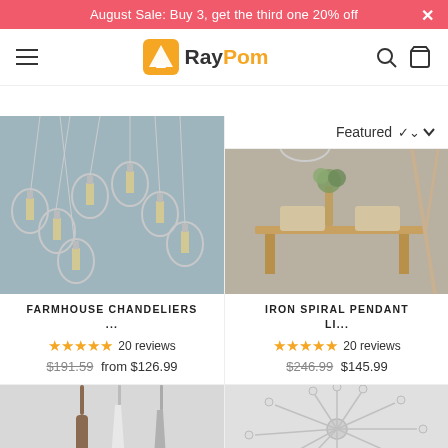August Sale: Buy 3, get the third one 20% off
[Figure (logo): RayPom logo with orange lampshade icon]
Featured
[Figure (photo): Farmhouse chandelier with exposed Edison bulbs hanging from cords]
FARMHOUSE CHANDELIERS ...
★★★★★ 20 reviews
$191.59  from $126.99
[Figure (photo): Iron spiral pendant light over wooden dining table with chairs]
IRON SPIRAL PENDANT LI...
★★★★★ 20 reviews
$246.99  $145.99
[Figure (photo): Minimalist pendant lights with wooden and concrete finishes, Sale badge]
[Figure (photo): Sputnik chandelier with multiple arms, Sale badge]